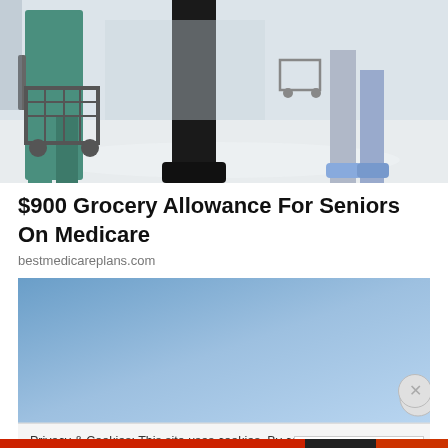[Figure (photo): Photo of people with shopping carts in a grocery store, showing legs and carts from waist down on a shiny floor]
$900 Grocery Allowance For Seniors On Medicare
bestmedicareplans.com
[Figure (other): Blue advertisement banner placeholder]
Privacy & Cookies: This site uses cookies. By continuing to use this website, you agree to their use.
To find out more, including how to control cookies, see here: Cookie Policy
Close and accept